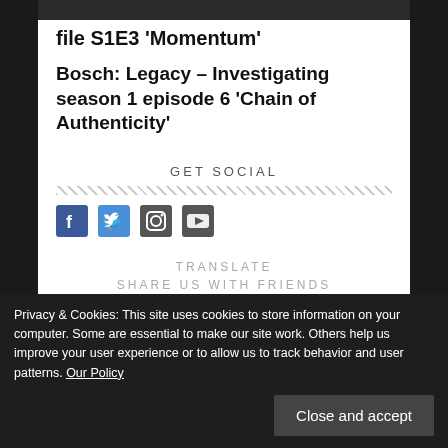file S1E3 ‘Momentum’
Bosch: Legacy – Investigating season 1 episode 6 ‘Chain of Authenticity’
GET SOCIAL
[Figure (other): Social media icons: Facebook, Twitter, Instagram, YouTube in blue/dark color]
SHARE US WITH FRIENDS
Privacy & Cookies: This site uses cookies to store information on your computer. Some are essential to make our site work. Others help us improve your user experience or to allow us to track behavior and user patterns. Our Policy
Close and accept
TRANSLATE